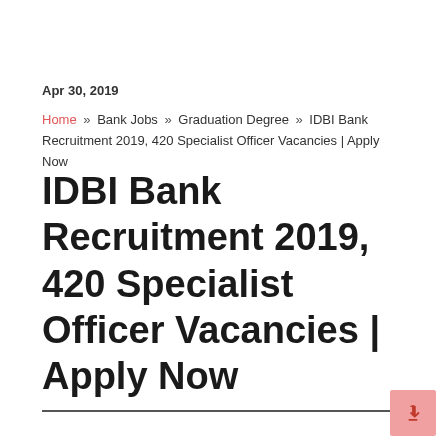Apr 30, 2019
Home » Bank Jobs » Graduation Degree » IDBI Bank Recruitment 2019, 420 Specialist Officer Vacancies | Apply Now
IDBI Bank Recruitment 2019, 420 Specialist Officer Vacancies | Apply Now